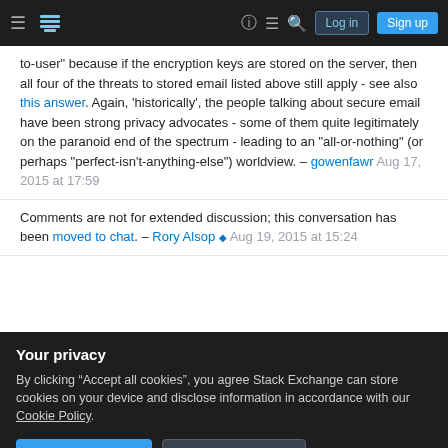Stack Exchange navigation header with Log in and Sign up buttons
to-user" because if the encryption keys are stored on the server, then all four of the threats to stored email listed above still apply - see also this answer. Again, 'historically', the people talking about secure email have been strong privacy advocates - some of them quite legitimately on the paranoid end of the spectrum - leading to an "all-or-nothing" (or perhaps "perfect-isn't-anything-else") worldview. – gowenfawr Aug 17, 2015 at 17:59
Comments are not for extended discussion; this conversation has been moved to chat. – Rory Alsop ◆ Aug 19, 2015 at 15:24
Your privacy
By clicking “Accept all cookies”, you agree Stack Exchange can store cookies on your device and disclose information in accordance with our Cookie Policy.
threat model - if the mail server software can read the